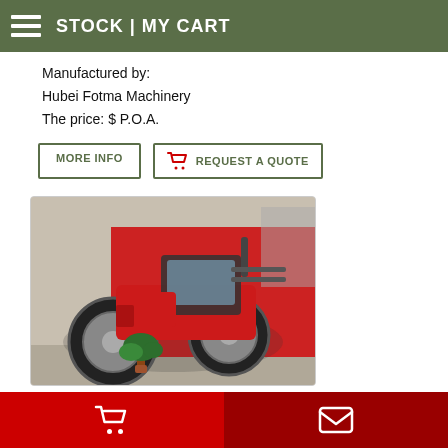STOCK | MY CART
Manufactured by:
Hubei Fotma Machinery
The price: $ P.O.A.
MORE INFO
REQUEST A QUOTE
[Figure (photo): Red agricultural tractor with dual rear wheels and cab, displayed at what appears to be an indoor exhibition or showroom. A small potted plant is visible in front of the tractor.]
Cart icon | Envelope icon